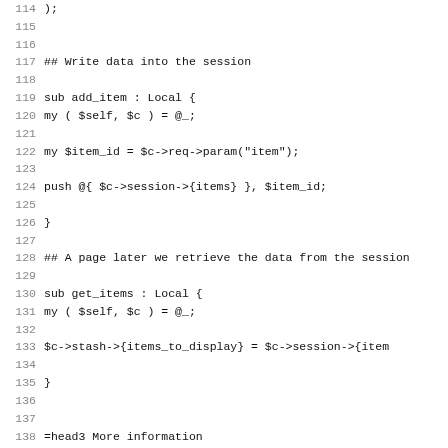Code listing lines 114-146 showing Perl Catalyst session code and POD documentation
117: ## Write data into the session
119: sub add_item : Local {
120:     my ( $self, $c ) = @_;
122:     my $item_id = $c->req->param("item");
124:     push @{ $c->session->{items} }, $item_id;
126: }
128: ## A page later we retrieve the data from the session
130: sub get_items : Local {
131:     my ( $self, $c ) = @_;
133:     $c->stash->{items_to_display} = $c->session->{item
135: }
138: =head3 More information
140: L<http://search.cpan.org/dist/Catalyst-Plugin-Session>
142: L<http://search.cpan.org/dist/Catalyst-Plugin-Session-S
144: L<http://search.cpan.org/dist/Catalyst-Plugin-Session-S
146: L<http://search.cpan.org/dist/Catalyst-Plugin-Session-S